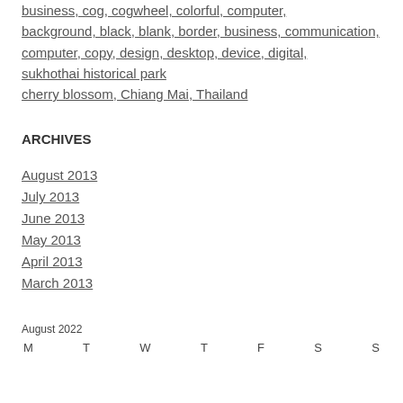business, cog, cogwheel, colorful, computer,
background, black, blank, border, business, communication,
computer, copy, design, desktop, device, digital,
sukhothai historical park
cherry blossom, Chiang Mai, Thailand
ARCHIVES
August 2013
July 2013
June 2013
May 2013
April 2013
March 2013
August 2022
M  T  W  T  F  S  S